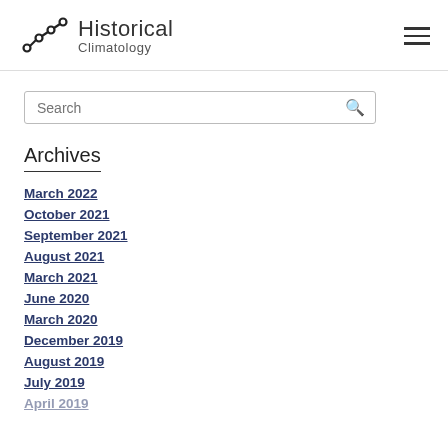Historical Climatology
Archives
March 2022
October 2021
September 2021
August 2021
March 2021
June 2020
March 2020
December 2019
August 2019
July 2019
April 2019